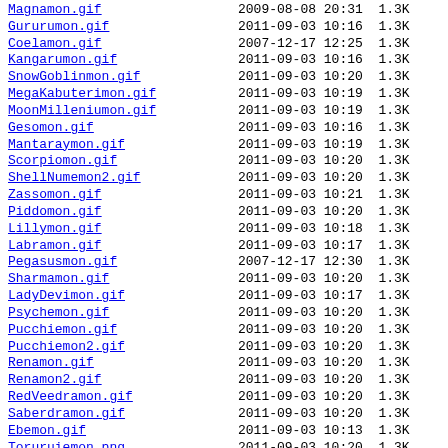Magnamon.gif    2009-08-08 20:31  1.3K
Gururumon.gif   2011-09-03 10:16  1.3K
Coelamon.gif    2007-12-17 12:25  1.3K
Kangarumon.gif  2011-09-03 10:16  1.3K
SnowGoblinmon.gif  2011-09-03 10:20  1.3K
MegaKabuterimon.gif  2011-09-03 10:19  1.3K
MoonMilleniumon.gif  2011-09-03 10:19  1.3K
Gesomon.gif     2011-09-03 10:16  1.3K
Mantaraymon.gif 2011-09-03 10:19  1.3K
Scorpiomon.gif  2011-09-03 10:20  1.3K
ShellNumemon2.gif  2011-09-03 10:20  1.3K
Zassomon.gif    2011-09-03 10:21  1.3K
Piddomon.gif    2011-09-03 10:20  1.3K
Lillymon.gif    2011-09-03 10:18  1.3K
Labramon.gif    2011-09-03 10:17  1.3K
Pegasusmon.gif  2007-12-17 12:30  1.3K
Sharmamon.gif   2011-09-03 10:20  1.3K
LadyDevimon.gif 2011-09-03 10:17  1.3K
Psychemon.gif   2011-09-03 10:20  1.3K
Pucchiemon.gif  2011-09-03 10:20  1.3K
Pucchiemon2.gif 2011-09-03 10:20  1.3K
Renamon.gif     2011-09-03 10:20  1.3K
Renamon2.gif    2011-09-03 10:20  1.3K
RedVeedramon.gif  2011-09-03 10:20  1.3K
Saberdramon.gif 2011-09-03 10:20  1.3K
Ebemon.gif      2011-09-03 10:13  1.3K
Toruruiemon.png 2011-09-03 10:20  1.3K
GoldVeedramon.gif  2011-09-03 10:16  1.3K
MasterVeedramon.gif  2011-09-03 10:19  1.3K
Veedramon.gif   2011-09-03 10:20  1.3K